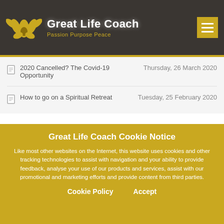Great Life Coach - Passion Purpose Peace
2020 Cancelled? The Covid-19 Opportunity  Thursday, 26 March 2020
How to go on a Spiritual Retreat  Tuesday, 25 February 2020
Great Life Coach Cookie Notice
Like most other websites on the Internet, this website uses cookies and other tracking technologies to assist with navigation and your ability to provide feedback, analyse your use of our products and services, assist with our promotional and marketing efforts and provide content from third parties.
Cookie Policy    Accept